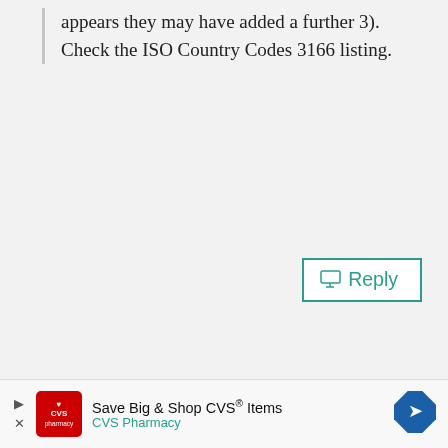appears they may have added a further 3). Check the ISO Country Codes 3166 listing.
Reply
Daniel Knight says:
April 3, 2020 at 5:08 pm
What about The Hutt River Province in Western Australia, a self governing territory since the 60's with its own passport, currency and Prince, I've actually been
Save Big & Shop CVS® Items
CVS Pharmacy